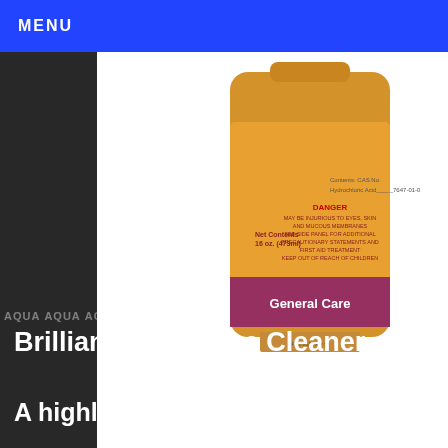MENU
[Figure (photo): Orange plastic bottle of Brilliance Surface Cleaner by General Care, showing label with Net Contents 16 oz. (473ml), Danger warning, and General Care branding with a dark pink/maroon band]
Brilliance® Surface Cleaner -
A highly concentrated gel which re